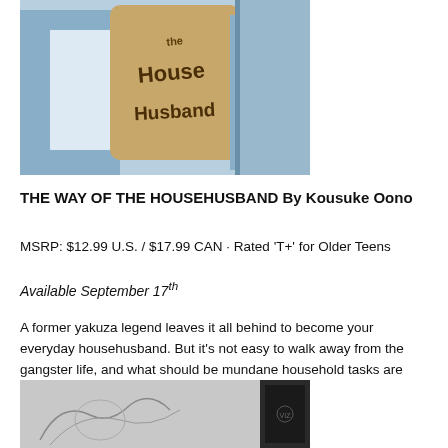[Figure (photo): Top portion of a manga volume box set for 'The Way of the Househusband' by Kousuke Oono, showing book cover art with stylized text.]
THE WAY OF THE HOUSEHUSBAND By Kousuke Oono
MSRP: $12.99 U.S. / $17.99 CAN · Rated 'T+' for Older Teens
Available September 17th
A former yakuza legend leaves it all behind to become your everyday househusband. But it's not easy to walk away from the gangster life, and what should be mundane household tasks are anything but!
[Figure (photo): Bottom portion of a manga volume box set, showing a gray box with illustrated character art in black and white.]